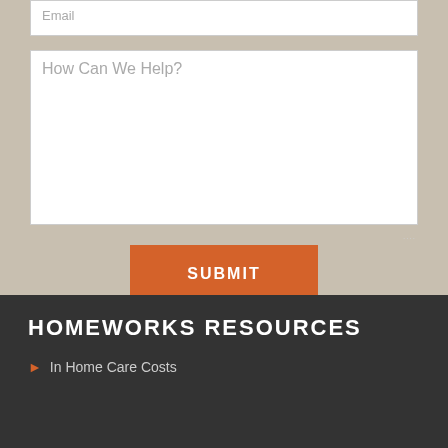Email
How Can We Help?
SUBMIT
HOMEWORKS RESOURCES
In Home Care Costs